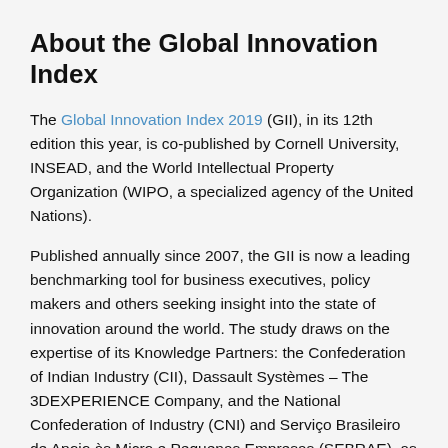About the Global Innovation Index
The Global Innovation Index 2019 (GII), in its 12th edition this year, is co-published by Cornell University, INSEAD, and the World Intellectual Property Organization (WIPO, a specialized agency of the United Nations).
Published annually since 2007, the GII is now a leading benchmarking tool for business executives, policy makers and others seeking insight into the state of innovation around the world. The study draws on the expertise of its Knowledge Partners: the Confederation of Indian Industry (CII), Dassault Systèmes – The 3DEXPERIENCE Company, and the National Confederation of Industry (CNI) and Serviço Brasileiro de Apoio às Micro e Pequenas Empresas (SEBRAE), as well as an Advisory Board of eminent international experts.
The core of the GII Report consists of a ranking of world economies' innovation capabilities and results.